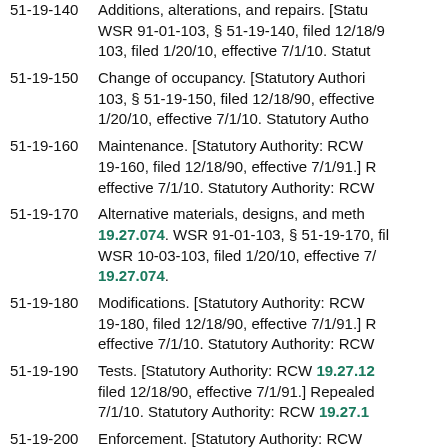51-19-140  Additions, alterations, and repairs. [Statutory Authority: ... WSR 91-01-103, § 51-19-140, filed 12/18/9... 103, filed 1/20/10, effective 7/1/10. Statut...
51-19-150  Change of occupancy. [Statutory Authority: ... 103, § 51-19-150, filed 12/18/90, effective ... 1/20/10, effective 7/1/10. Statutory Autho...
51-19-160  Maintenance. [Statutory Authority: RCW ... 19-160, filed 12/18/90, effective 7/1/91.] R... effective 7/1/10. Statutory Authority: RCW...
51-19-170  Alternative materials, designs, and methods. [Statutory Authority: RCW 19.27.074. WSR 91-01-103, § 51-19-170, fil... WSR 10-03-103, filed 1/20/10, effective 7/... 19.27.074.
51-19-180  Modifications. [Statutory Authority: RCW ... 19-180, filed 12/18/90, effective 7/1/91.] R... effective 7/1/10. Statutory Authority: RCW...
51-19-190  Tests. [Statutory Authority: RCW 19.27.12... filed 12/18/90, effective 7/1/91.] Repealed... 7/1/10. Statutory Authority: RCW 19.27.1...
51-19-200  Enforcement. [Statutory Authority: RCW ... 19-200, filed 12/18/90, effective 7/1/91.] R...